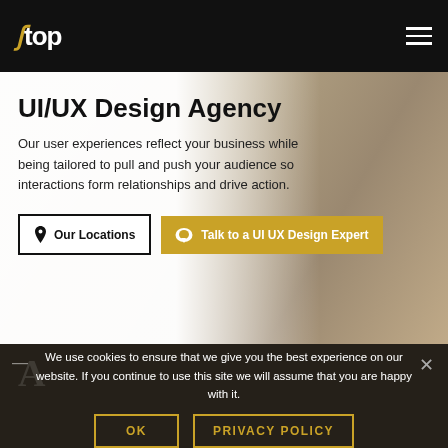top
UI/UX Design Agency
Our user experiences reflect your business while being tailored to pull and push your audience so interactions form relationships and drive action.
Our Locations
Talk to a UI UX Design Expert
We use cookies to ensure that we give you the best experience on our website. If you continue to use this site we will assume that you are happy with it.
OK
PRIVACY POLICY
We're perfecting and reperfecting the